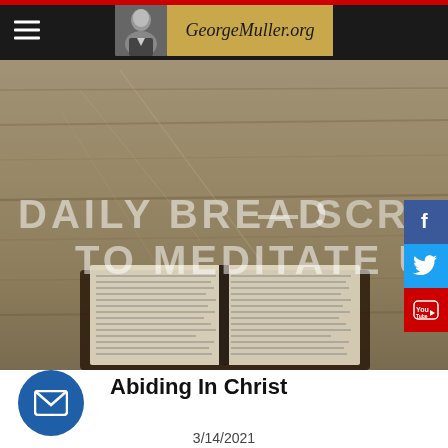GeorgeMuller.org
[Figure (screenshot): Hero banner image showing an open Bible on a wooden table background with overlaid text reading DAILY BREAD - SCRIPTURES TO MEDITATE UPON]
[Figure (infographic): Social media icon buttons: Facebook (blue), Twitter (blue), YouTube (red)]
Abiding In Christ
3/14/2021